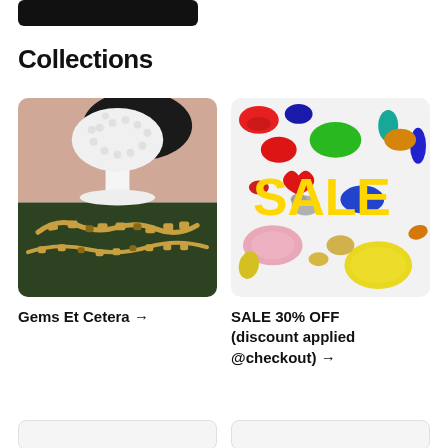[Figure (other): Partial dark rounded button/bar at top of page, partially cropped]
Collections
[Figure (photo): Photo of a white textured vase on pink/peach background with a gold chain necklace on dark green velvet below]
Gems Et Cetera →
[Figure (photo): Photo of colorful glass objects (ornaments, dishes) with large yellow SALE text overlaid in the center]
SALE 30% OFF (discount applied @checkout) →
[Figure (other): Partial bottom row with two partially visible image cards, cropped at bottom of page]